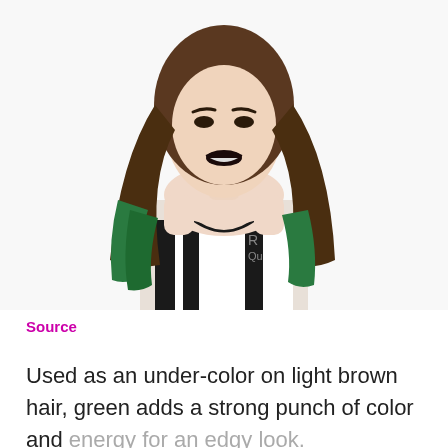[Figure (photo): A woman with long brown hair with green under-color highlights, wearing a black and white striped top, smiling against a white background.]
Source
Used as an under-color on light brown hair, green adds a strong punch of color and energy for an edgy look.